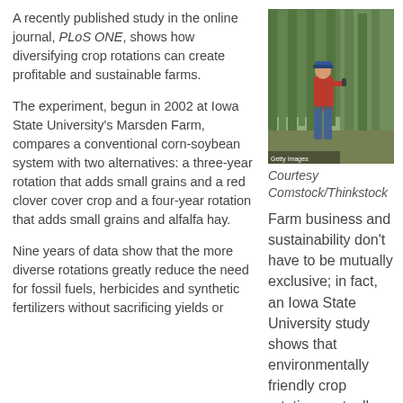A recently published study in the online journal, PLoS ONE, shows how diversifying crop rotations can create profitable and sustainable farms.
[Figure (photo): A farmer in a red shirt and blue jeans walking along tall green crops, wearing a baseball cap.]
Courtesy Comstock/Thinkstock
Farm business and sustainability don’t have to be mutually exclusive; in fact, an Iowa State University study shows that environmentally friendly crop rotations actually help save business
The experiment, begun in 2002 at Iowa State University’s Marsden Farm, compares a conventional corn-soybean system with two alternatives: a three-year rotation that adds small grains and a red clover cover crop and a four-year rotation that adds small grains and alfalfa hay.
Nine years of data show that the more diverse rotations greatly reduce the need for fossil fuels, herbicides and synthetic fertilizers without sacrificing yields or